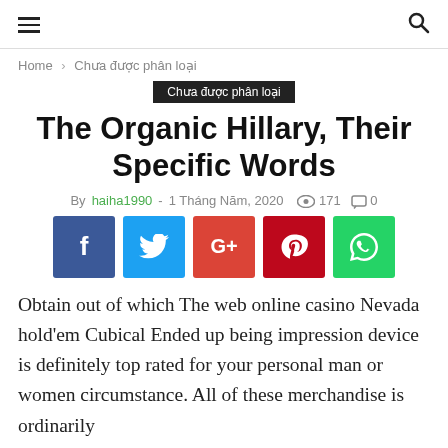≡  🔍
Home › Chưa được phân loại
Chưa được phân loại
The Organic Hillary, Their Specific Words
By haiha1990 - 1 Tháng Năm, 2020  👁 171  🗨 0
[Figure (other): Social share buttons: Facebook, Twitter, Google+, Pinterest, WhatsApp]
Obtain out of which The web online casino Nevada hold'em Cubical Ended up being impression device is definitely top rated for your personal man or women circumstance. All of these merchandise is ordinarily